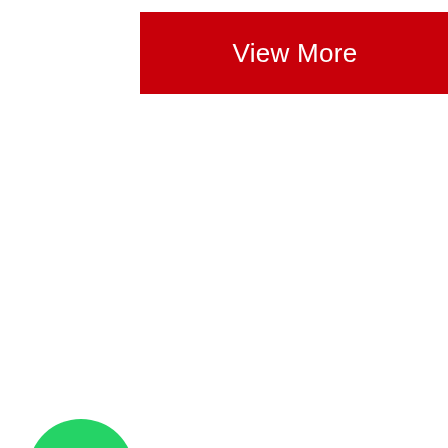[Figure (other): Red 'View More' button with white text]
[Figure (logo): WhatsApp logo - green speech bubble with white phone icon]
[Figure (photo): Server hard disk drive in a black tray/caddy, 2.5 inch HDD with silver top]